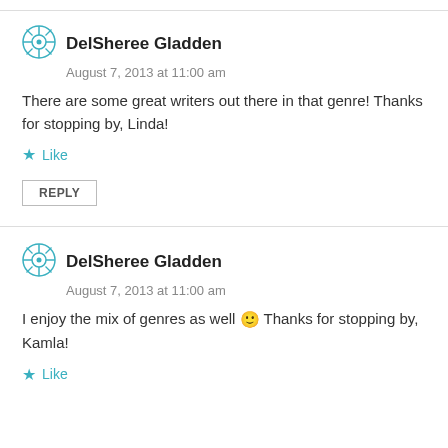DelSheree Gladden
August 7, 2013 at 11:00 am
There are some great writers out there in that genre! Thanks for stopping by, Linda!
Like
REPLY
DelSheree Gladden
August 7, 2013 at 11:00 am
I enjoy the mix of genres as well 🙂 Thanks for stopping by, Kamla!
Like